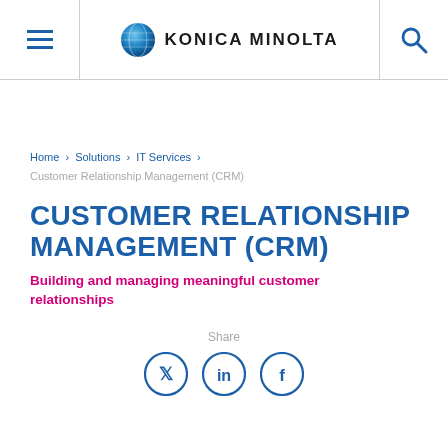[Figure (logo): Konica Minolta logo with globe icon and company name in header navigation bar]
Home > Solutions > IT Services > Customer Relationship Management (CRM)
CUSTOMER RELATIONSHIP MANAGEMENT (CRM)
Building and managing meaningful customer relationships
Share